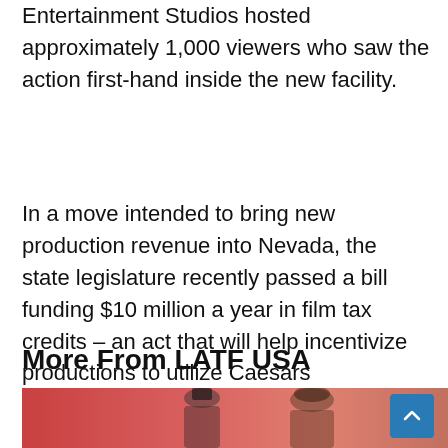Entertainment Studios hosted approximately 1,000 viewers who saw the action first-hand inside the new facility.
In a move intended to bring new production revenue into Nevada, the state legislature recently passed a bill funding $10 million a year in film tax credits – an act that will help incentivize productions to utilize Caesars Entertainment Studios.
More From LATF USA
[Figure (photo): Photo of people (performers or celebrities) against a red/pink background, partial view cut off at bottom of page. A blue scroll-to-top button is overlaid on the bottom right.]